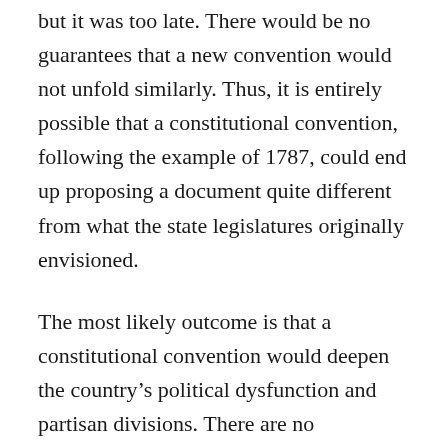but it was too late. There would be no guarantees that a new convention would not unfold similarly. Thus, it is entirely possible that a constitutional convention, following the example of 1787, could end up proposing a document quite different from what the state legislatures originally envisioned.
The most likely outcome is that a constitutional convention would deepen the country's political dysfunction and partisan divisions. There are no constitutional rules defining a convention's processes and the absence of legal rules could result in the convention's “losers” deeming any resulting changes as illegitimate. Regardless of the